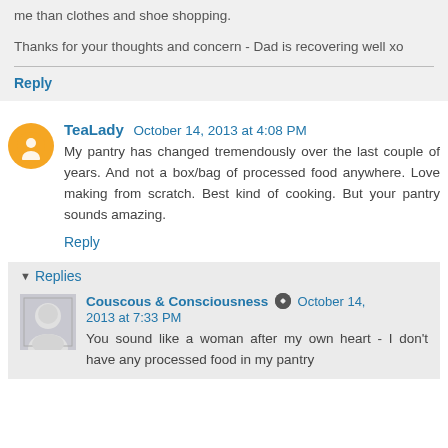me than clothes and shoe shopping.
Thanks for your thoughts and concern - Dad is recovering well xo
Reply
TeaLady  October 14, 2013 at 4:08 PM
My pantry has changed tremendously over the last couple of years. And not a box/bag of processed food anywhere. Love making from scratch. Best kind of cooking. But your pantry sounds amazing.
Reply
Replies
Couscous & Consciousness  October 14, 2013 at 7:33 PM
You sound like a woman after my own heart - I don't have any processed food in my pantry